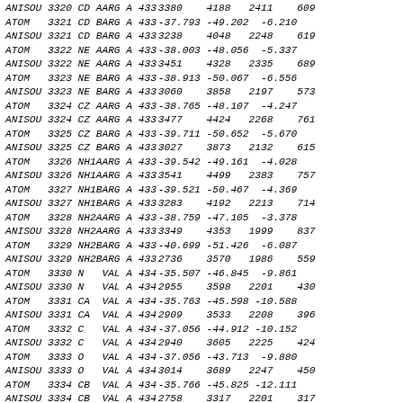| ANISOU 3320  CD AARG A 433 | 3380   4188   2411    609 |
| ATOM   3321  CD BARG A 433 | -37.793 -49.202  -6.210 |
| ANISOU 3321  CD BARG A 433 | 3238   4048   2248    619 |
| ATOM   3322  NE AARG A 433 | -38.003 -48.056  -5.337 |
| ANISOU 3322  NE AARG A 433 | 3451   4328   2335    689 |
| ATOM   3323  NE BARG A 433 | -38.913 -50.067  -6.556 |
| ANISOU 3323  NE BARG A 433 | 3060   3858   2197    573 |
| ATOM   3324  CZ AARG A 433 | -38.765 -48.107  -4.247 |
| ANISOU 3324  CZ AARG A 433 | 3477   4424   2268    761 |
| ATOM   3325  CZ BARG A 433 | -39.711 -50.652  -5.670 |
| ANISOU 3325  CZ BARG A 433 | 3027   3873   2132    615 |
| ATOM   3326  NH1AARG A 433 | -39.542 -49.161  -4.028 |
| ANISOU 3326  NH1AARG A 433 | 3541   4499   2383    757 |
| ATOM   3327  NH1BARG A 433 | -39.521 -50.467  -4.369 |
| ANISOU 3327  NH1BARG A 433 | 3283   4192   2213    714 |
| ATOM   3328  NH2AARG A 433 | -38.759 -47.105  -3.378 |
| ANISOU 3328  NH2AARG A 433 | 3349   4353   1999    837 |
| ATOM   3329  NH2BARG A 433 | -40.699 -51.426  -6.087 |
| ANISOU 3329  NH2BARG A 433 | 2736   3570   1986    559 |
| ATOM   3330  N   VAL A 434 | -35.507 -46.845  -9.861 |
| ANISOU 3330  N   VAL A 434 | 2955   3598   2201    430 |
| ATOM   3331  CA  VAL A 434 | -35.763 -45.598 -10.588 |
| ANISOU 3331  CA  VAL A 434 | 2909   3533   2208    396 |
| ATOM   3332  C   VAL A 434 | -37.056 -44.912 -10.152 |
| ANISOU 3332  C   VAL A 434 | 2940   3605   2225    424 |
| ATOM   3333  O   VAL A 434 | -37.056 -43.713  -9.880 |
| ANISOU 3333  O   VAL A 434 | 3014   3689   2247    450 |
| ATOM   3334  CB  VAL A 434 | -35.766 -45.825 -12.111 |
| ANISOU 3334  CB  VAL A 434 | 2758   3317   2201    317 |
| ATOM   3335  CG1 VAL A 434 | -36.119 -44.532 -12.849 |